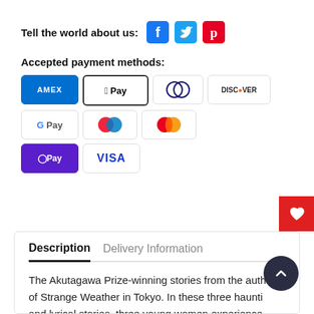Tell the world about us:
[Figure (logo): Social media icons: Facebook (blue rounded square), Twitter (blue bird icon), Pinterest (red rounded square)]
Accepted payment methods:
[Figure (logo): Payment method badges: AMEX, Apple Pay, Diners Club, Discover, Google Pay, Maestro, Mastercard, OPay, VISA]
Description   Delivery Information
The Akutagawa Prize-winning stories from the author of Strange Weather in Tokyo. In these three haunting and lyrical stories, three young women experience unsettling loss and romance. In a dreamlike adventure, one woman travels through an apparently unending